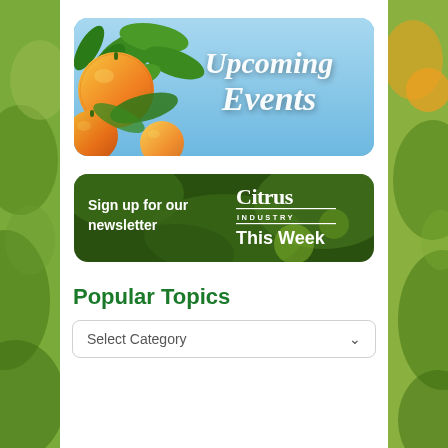[Figure (illustration): Upcoming Events banner with oranges on a blue sky background and cursive white text reading 'Upcoming Events']
[Figure (illustration): Newsletter signup banner with citrus leaves background, white text 'Sign up for our newsletter' and 'Citrus Industry This Week' logo]
Popular Topics
Select Category